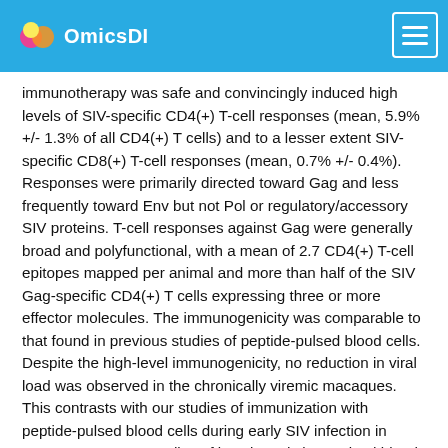OmicsDI
immunotherapy was safe and convincingly induced high levels of SIV-specific CD4(+) T-cell responses (mean, 5.9% +/- 1.3% of all CD4(+) T cells) and to a lesser extent SIV-specific CD8(+) T-cell responses (mean, 0.7% +/- 0.4%). Responses were primarily directed toward Gag and less frequently toward Env but not Pol or regulatory/accessory SIV proteins. T-cell responses against Gag were generally broad and polyfunctional, with a mean of 2.7 CD4(+) T-cell epitopes mapped per animal and more than half of the SIV Gag-specific CD4(+) T cells expressing three or more effector molecules. The immunogenicity was comparable to that found in previous studies of peptide-pulsed blood cells. Despite the high-level immunogenicity, no reduction in viral load was observed in the chronically viremic macaques. This contrasts with our studies of immunization with peptide-pulsed blood cells during early SIV infection in macaques. Future studies of inactivated virus-pulsed blood cell immunotherapy during early infection of patients receiving antiretroviral therapy are